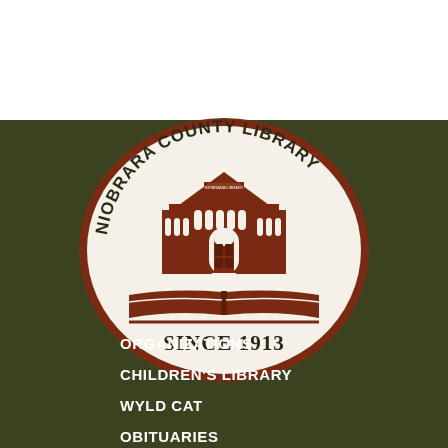[Figure (logo): Niobrara County Library oval logo with dark red building illustration on open book, text arched 'NIOBRARA COUNTY LIBRARY' and 'SINCE 1913' at bottom, on white oval with brown border, set against dark olive green background]
ORGANIZATIONS
CHILDREN'S LIBRARY
WYLD CAT
OBITUARIES